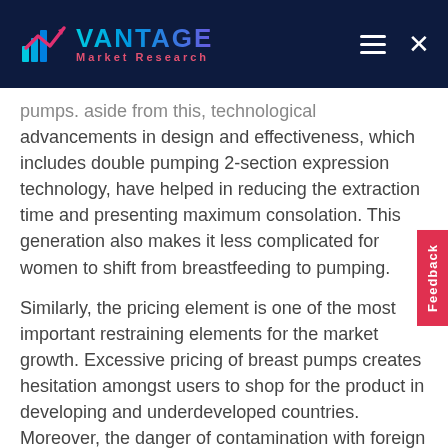Vantage Market Research
pumps. aside from this, technological advancements in design and effectiveness, which includes double pumping 2-section expression technology, have helped in reducing the extraction time and presenting maximum consolation. This generation also makes it less complicated for women to shift from breastfeeding to pumping.
Similarly, the pricing element is one of the most important restraining elements for the market growth. Excessive pricing of breast pumps creates hesitation amongst users to shop for the product in developing and underdeveloped countries. Moreover, the danger of contamination with foreign materials is expected to hinder the